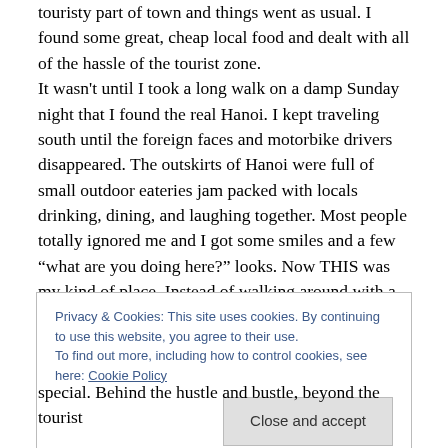touristy part of town and things went as usual. I found some great, cheap local food and dealt with all of the hassle of the tourist zone. It wasn't until I took a long walk on a damp Sunday night that I found the real Hanoi. I kept traveling south until the foreign faces and motorbike drivers disappeared. The outskirts of Hanoi were full of small outdoor eateries jam packed with locals drinking, dining, and laughing together. Most people totally ignored me and I got some smiles and a few “what are you doing here?” looks. Now THIS was my kind of place. Instead of walking around with a scarlet “t”
Privacy & Cookies: This site uses cookies. By continuing to use this website, you agree to their use.
To find out more, including how to control cookies, see here: Cookie Policy
[Close and accept]
special. Behind the hustle and bustle, beyond the tourist